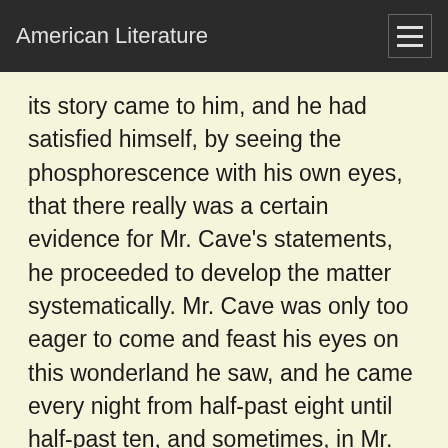American Literature
its story came to him, and he had satisfied himself, by seeing the phosphorescence with his own eyes, that there really was a certain evidence for Mr. Cave's statements, he proceeded to develop the matter systematically. Mr. Cave was only too eager to come and feast his eyes on this wonderland he saw, and he came every night from half-past eight until half-past ten, and sometimes, in Mr. Wace's absence, during the day. On Sunday afternoons, also, he came. From the outset Mr. Wace made copious notes, and it was due to his scientific method that the relation between the direction from which the initiating ray entered the crystal and the